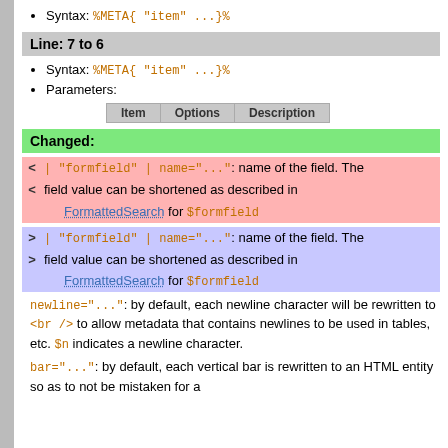Syntax: %META{ "item" ...}%
Line: 7 to 6
Syntax: %META{ "item" ...}%
Parameters:
| Item | Options | Description |
| --- | --- | --- |
Changed:
< | "formfield" | name="...": name of the field. The field value can be shortened as described in FormattedSearch for $formfield
> | "formfield" | name="...": name of the field. The field value can be shortened as described in FormattedSearch for $formfield
newline="...": by default, each newline character will be rewritten to <br /> to allow metadata that contains newlines to be used in tables, etc. $n indicates a newline character.
bar="...": by default, each vertical bar is rewritten to an HTML entity so as to not be mistaken for a